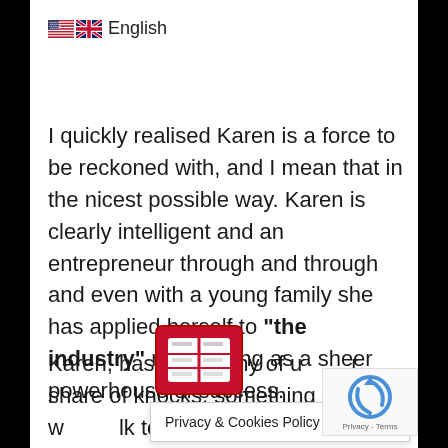🇺🇸🇬🇧 English
I quickly realised Karen is a force to be reckoned with, and I mean that in the nicest possible way. Karen is clearly intelligent and an entrepreneur through and through and even with a young family she has applied herself to "the industry" manifesting as a sheer powerhouse of success.
Karen, has, like many of [us] her share of knocks, something she w[ould] [ta]lk to you about, but has pick[ed her]sel[f up an]d grown from those knocks[, and] [the]re
[Figure (other): Red privacy/cookies policy popup icon with grid pattern]
Privacy & Cookies Policy
[Figure (other): reCAPTCHA widget with Privacy - Terms text]